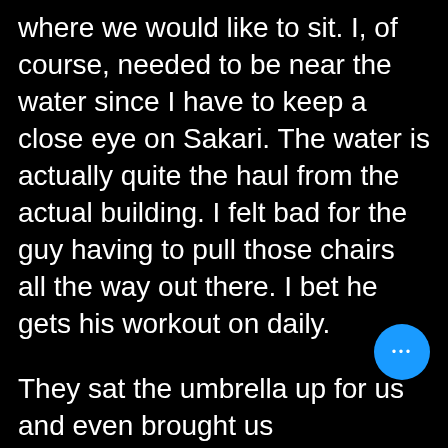where we would like to sit. I, of course, needed to be near the water since I have to keep a close eye on Sakari. The water is actually quite the haul from the actual building. I felt bad for the guy having to pull those chairs all the way out there. I bet he gets his workout on daily.

They sat the umbrella up for us and even brought us a small table and took our